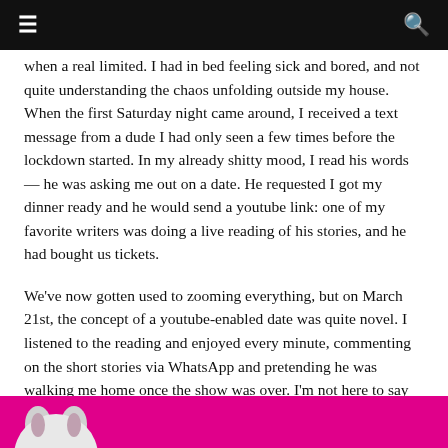≡  🔍
when a real limited. I had in bed feeling sick and bored, and not quite understanding the chaos unfolding outside my house. When the first Saturday night came around, I received a text message from a dude I had only seen a few times before the lockdown started. In my already shitty mood, I read his words — he was asking me out on a date. He requested I got my dinner ready and he would send a youtube link: one of my favorite writers was doing a live reading of his stories, and he had bought us tickets.
We've now gotten used to zooming everything, but on March 21st, the concept of a youtube-enabled date was quite novel. I listened to the reading and enjoyed every minute, commenting on the short stories via WhatsApp and pretending he was walking me home once the show was over. I'm not here to say the internet can replace the real thing — it can't. There's no match for reality. However, I will also say this: the date may have been digital, but the smile on my face after the night ended was very, very real.
[Figure (illustration): Bottom portion of a pink/magenta background illustration showing the top of a cartoon character's head (grey, rabbit-like) emerging from the bottom of the frame.]